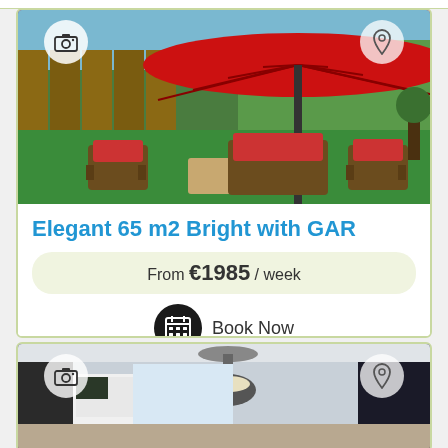[Figure (photo): Outdoor patio with large red umbrella, wicker furniture with red cushions on green turf, wooden fence and hedges in background]
Elegant 65 m2 Bright with GAR
From €1985 / week
Book Now
[Figure (photo): Interior room with pendant light fixture, partial view of modern apartment]